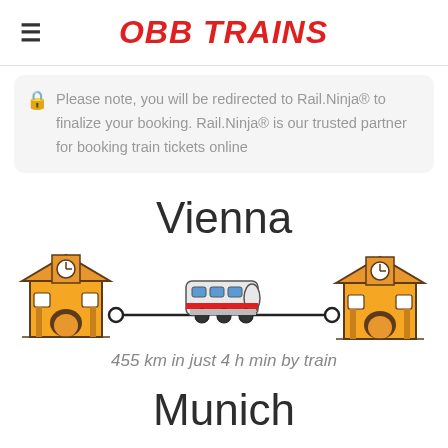OBB TRAINS
Please note, you will be redirected to Rail.Ninja® to finalize your booking. Rail.Ninja® is our trusted partner for booking train tickets online
Vienna
[Figure (illustration): Route illustration showing two train station buildings connected by a line with a train in the middle. Text below reads: 455 km in just 4 h min by train]
455 km in just 4 h min by train
Munich